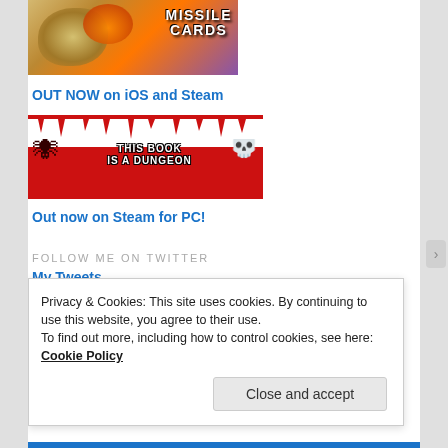[Figure (illustration): Missile Cards game promotional banner showing a character and explosion with title text 'MISSILE CARDS']
OUT NOW on iOS and Steam
[Figure (illustration): This Book Is A Dungeon game promotional banner with horror/gore theme, showing a spider creature and skeleton with title text 'THIS BOOK IS A DUNGEON']
Out now on Steam for PC!
FOLLOW ME ON TWITTER
My Tweets
Privacy & Cookies: This site uses cookies. By continuing to use this website, you agree to their use.
To find out more, including how to control cookies, see here: Cookie Policy
Close and accept